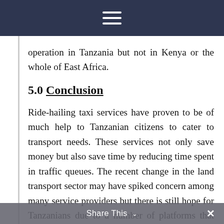≡
operation in Tanzania but not in Kenya or the whole of East Africa.
5.0 Conclusion
Ride-hailing taxi services have proven to be of much help to Tanzanian citizens to cater to transport needs. These services not only save money but also save time by reducing time spent in traffic queues. The recent change in the land transport sector may have spiked concern among many service providers but there is still hope for Tanzanians due to a number of platforms that still operate. This may also be an opportunity for competition for the local companies to improve services, penetrate the even larger market and position themselves for
Share This ∨  ×